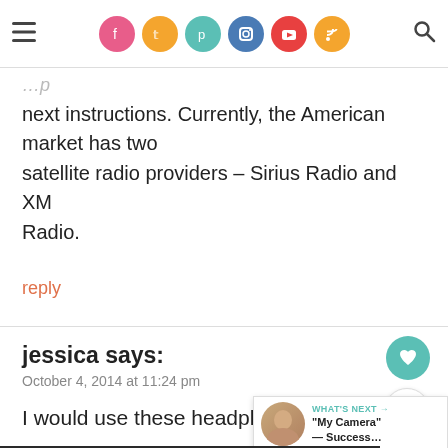Navigation bar with hamburger menu, social icons (Facebook, Twitter, Pinterest, Instagram, YouTube, RSS), and search icon
next instructions. Currently, the American market has two satellite radio providers – Sirius Radio and XM Radio.
reply
jessica says:
October 4, 2014 at 11:24 pm
I would use these headphones at th…
reply
[Figure (other): SHE CAN STEM ad banner with Learn More button, STEM logo grid, and Ad Council logo]